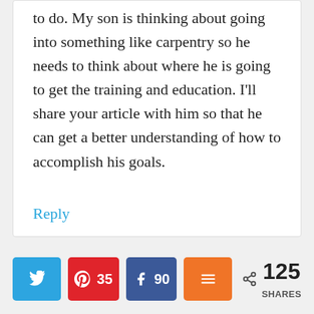to do. My son is thinking about going into something like carpentry so he needs to think about where he is going to get the training and education. I’ll share your article with him so that he can get a better understanding of how to accomplish his goals.
Reply
125 SHARES | Twitter | Pinterest 35 | Facebook 90 | Mix